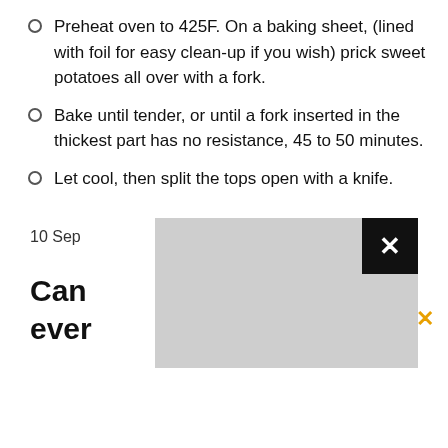Preheat oven to 425F. On a baking sheet, (lined with foil for easy clean-up if you wish) prick sweet potatoes all over with a fork.
Bake until tender, or until a fork inserted in the thickest part has no resistance, 45 to 50 minutes.
Let cool, then split the tops open with a knife.
10 Sep
Can ... otato ever
[Figure (screenshot): Modal dialog overlay with gray background and black close button (×) in top right corner, partially obscuring content beneath]